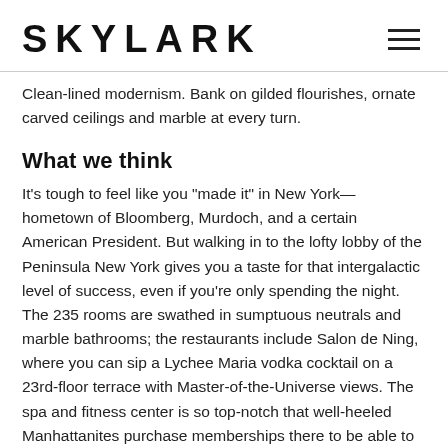SKYLARK
Clean-lined modernism. Bank on gilded flourishes, ornate carved ceilings and marble at every turn.
What we think
It’s tough to feel like you “made it” in New York—hometown of Bloomberg, Murdoch, and a certain American President. But walking in to the lofty lobby of the Peninsula New York gives you a taste for that intergalactic level of success, even if you’re only spending the night. The 235 rooms are swathed in sumptuous neutrals and marble bathrooms; the restaurants include Salon de Ning, where you can sip a Lychee Maria vodka cocktail on a 23rd-floor terrace with Master-of-the-Universe views. The spa and fitness center is so top-notch that well-heeled Manhattanites purchase memberships there to be able to duck in at their leisure. There’s an ice fountain, steam room, sauna and a pool enclosed by glass